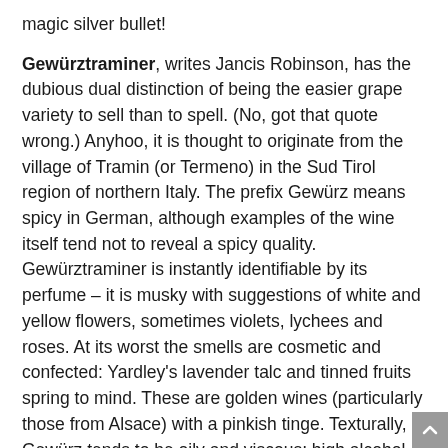magic silver bullet!
Gewürztraminer, writes Jancis Robinson, has the dubious dual distinction of being the easier grape variety to sell than to spell. (No, got that quote wrong.) Anyhoo, it is thought to originate from the village of Tramin (or Termeno) in the Sud Tirol region of northern Italy. The prefix Gewürz means spicy in German, although examples of the wine itself tend not to reveal a spicy quality. Gewürztraminer is instantly identifiable by its perfume – it is musky with suggestions of white and yellow flowers, sometimes violets, lychees and roses. At its worst the smells are cosmetic and confected: Yardley's lavender talc and tinned fruits spring to mind. These are golden wines (particularly those from Alsace) with a pinkish tinge. Texturally, Gewürz tends to be oily and viscous; high alcohol